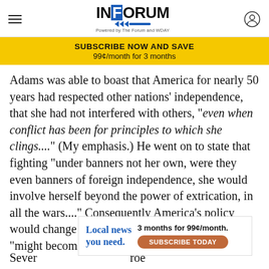INFORUM - Powered by The Forum and WDAY
SUBSCRIBE NOW AND SAVE
99¢/month for 3 months
Adams was able to boast that America for nearly 50 years had respected other nations' independence, that she had not interfered with others, "even when conflict has been for principles to which she clings...." (My emphasis.) He went on to state that fighting "under banners not her own, were they even banners of foreign independence, she would involve herself beyond the power of extrication, in all the wars...." Consequently America's policy would change from liberty to force, and America "might become the dictatress of the world."
[Figure (infographic): Advertisement banner: Local news you need. 3 months for 99¢/month. SUBSCRIBE TODAY button.]
Sever... roe